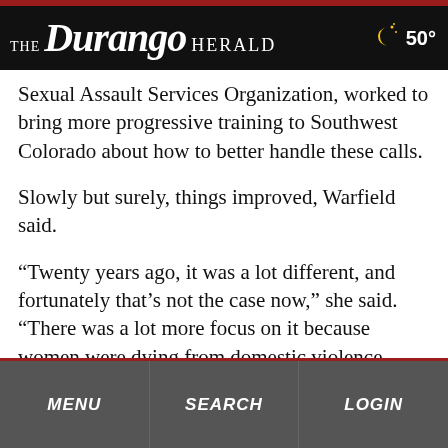THE Durango HERALD  50°
Sexual Assault Services Organization, worked to bring more progressive training to Southwest Colorado about how to better handle these calls.
Slowly but surely, things improved, Warfield said.
“Twenty years ago, it was a lot different, and fortunately that’s not the case now,” she said. “There was a lot more focus on it because women were dying from domestic violence incidents. (Training) really needed to happen.”
Warfield in the early 2000s became a detective, with domestic violence and sexual assault becoming her specialty.
MENU   SEARCH   LOGIN